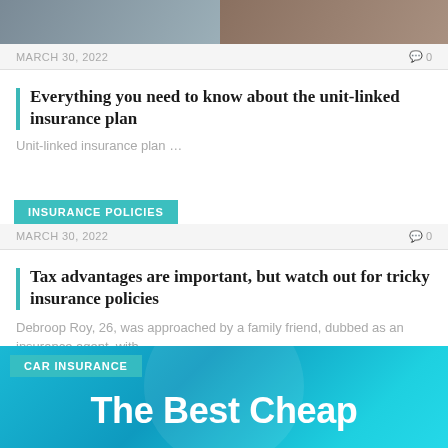[Figure (photo): Top portion of a photo showing people, cropped at top of page]
MARCH 30, 2022   0
Everything you need to know about the unit-linked insurance plan
Unit-linked insurance plan …
INSURANCE POLICIES
MARCH 30, 2022   0
Tax advantages are important, but watch out for tricky insurance policies
Debroop Roy, 26, was approached by a family friend, dubbed as an insurance agent, with…
[Figure (photo): Bottom image with teal/blue background showing 'The Best Cheap' text, with CAR INSURANCE category tag]